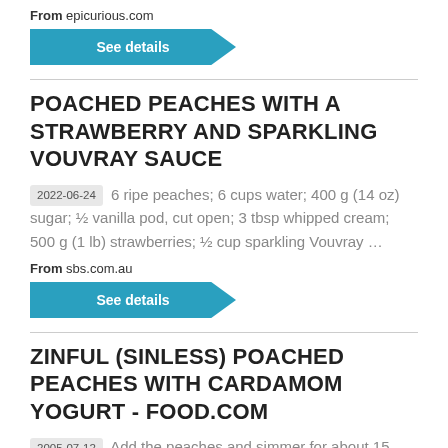From epicurious.com
See details
POACHED PEACHES WITH A STRAWBERRY AND SPARKLING VOUVRAY SAUCE
2022-06-24 6 ripe peaches; 6 cups water; 400 g (14 oz) sugar; ½ vanilla pod, cut open; 3 tbsp whipped cream; 500 g (1 lb) strawberries; ½ cup sparkling Vouvray …
From sbs.com.au
See details
ZINFUL (SINLESS) POACHED PEACHES WITH CARDAMOM YOGURT - FOOD.COM
2005-07-12 Add the peaches and simmer for about 15 minutes, covered. Remove the peaches and reduce the